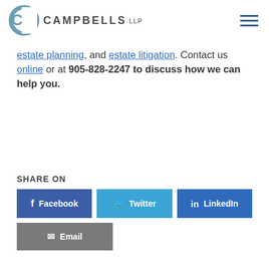Campbells LLP
estate planning, and estate litigation. Contact us online or at 905-828-2247 to discuss how we can help you.
SHARE ON
Facebook  Twitter  LinkedIn  Email